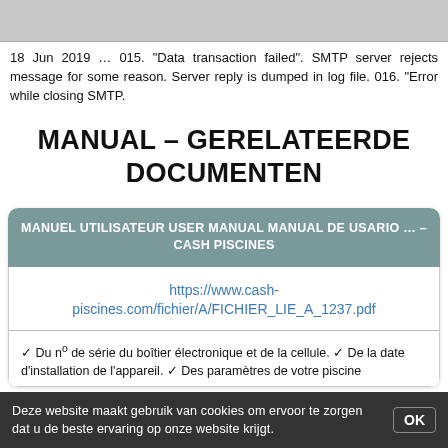[Figure (screenshot): Gray placeholder image bar at top of page]
18 Jun 2019 … 015. "Data transaction failed". SMTP server rejects message for some reason. Server reply is dumped in log file. 016. "Error while closing SMTP.
MANUAL – GERELATEERDE DOCUMENTEN
MANUEL UTILISATEUR USER MANUAL MANUAL DE USARIO … – CASH PISCINES
https://www.cash-piscines.com/fichier/A/FICHIER_LIE_A_1237.pdf
✓ Du nº de série du boîtier électronique et de la cellule. ✓ De la date d'installation de l'appareil. ✓ Des paramètres de votre piscine
Deze website maakt gebruik van cookies om ervoor te zorgen dat u de beste ervaring op onze website krijgt.